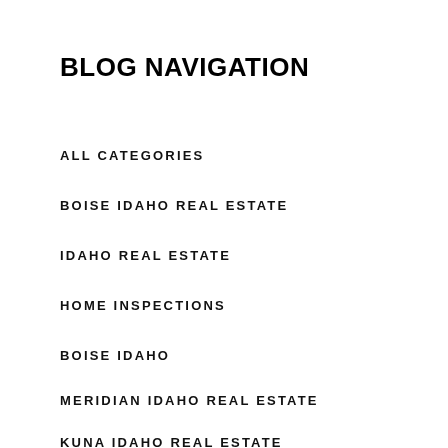BLOG NAVIGATION
ALL CATEGORIES
BOISE IDAHO REAL ESTATE
IDAHO REAL ESTATE
HOME INSPECTIONS
BOISE IDAHO
MERIDIAN IDAHO REAL ESTATE
KUNA IDAHO REAL ESTATE